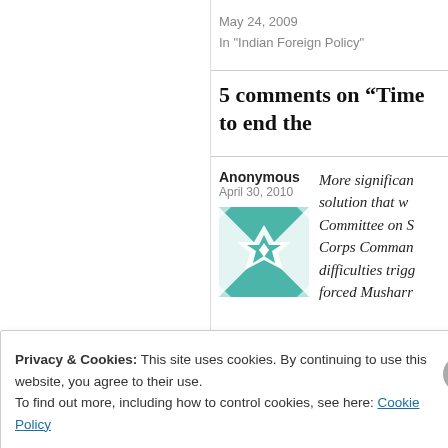May 24, 2009
In "Indian Foreign Policy"
5 comments on “Time to end the
Anonymous
April 30, 2010
[Figure (illustration): Teal/green geometric quilt-pattern avatar icon]
More significan solution that w Committee on S Corps Comman difficulties trigg forced Musharr
Privacy & Cookies: This site uses cookies. By continuing to use this website, you agree to their use.
To find out more, including how to control cookies, see here: Cookie Policy
Close and accept